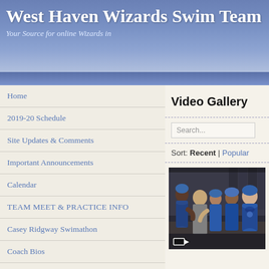West Haven Wizards Swim Team
Your Source for online Wizards in
Home
2019-20 Schedule
Site Updates & Comments
Important Announcements
Calendar
TEAM MEET & PRACTICE INFO
Casey Ridgway Swimathon
Coach Bios
Directions
Wizards Swim OutletStore
PARENTS CLUB CENTRAL
The Coaches Awards
Video Gallery
Search...
Sort: Recent | Popular
[Figure (photo): Group photo of swim team members wearing blue swimsuits and caps, posed together indoors, with a video camera icon overlay]